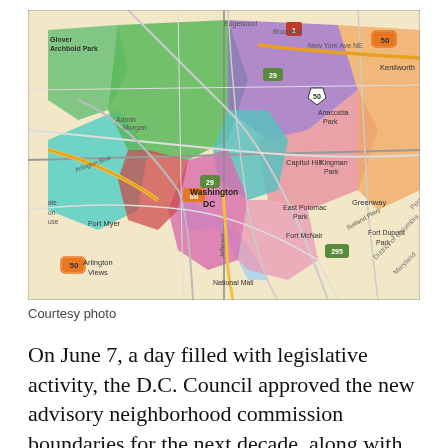[Figure (map): Colorful map of Washington D.C. and surrounding areas showing advisory neighborhood commission boundaries, with various neighborhoods labeled including Fort Myer, Arlington Views, National Mall, Capitol Hill, Anacostia Park, Kingman Park, Greenway, Fort Dupont Park, Kenilworth, and others. Major highways and routes marked including 50, 66, 29, 1, 295.]
Courtesy photo
On June 7, a day filled with legislative activity, the D.C. Council approved the new advisory neighborhood commission boundaries for the next decade, along with other matters.